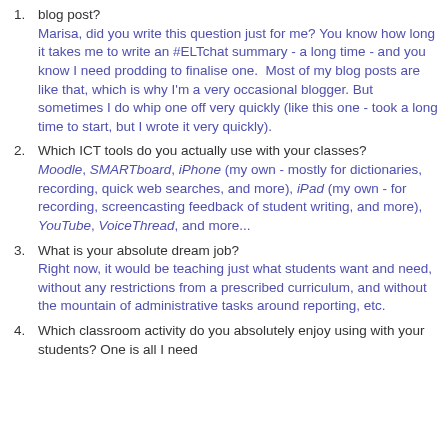blog post?
Marisa, did you write this question just for me? You know how long it takes me to write an #ELTchat summary - a long time - and you know I need prodding to finalise one.  Most of my blog posts are like that, which is why I'm a very occasional blogger. But sometimes I do whip one off very quickly (like this one - took a long time to start, but I wrote it very quickly).
Which ICT tools do you actually use with your classes? Moodle, SMARTboard, iPhone (my own - mostly for dictionaries, recording, quick web searches, and more), iPad (my own - for recording, screencasting feedback of student writing, and more), YouTube, VoiceThread, and more...
What is your absolute dream job? Right now, it would be teaching just what students want and need, without any restrictions from a prescribed curriculum, and without the mountain of administrative tasks around reporting, etc.
Which classroom activity do you absolutely enjoy using with your students? One is all I need